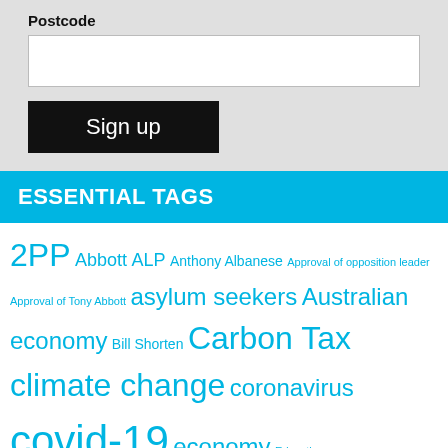Postcode
Sign up
ESSENTIAL TAGS
2PP Abbott ALP Anthony Albanese Approval of opposition leader Approval of Tony Abbott asylum seekers Australian economy Bill Shorten Carbon Tax climate change coronavirus covid-19 economy Education Election EMC environment ER Essential Media Essential Report Federal Budget Federal Government federal politics Gillard Greens Julia Gillard kevin rudd Labor Labor Party Liberal Liberal Party Liberals mining Nationals Opposition leader peter lewis Polling polls Prime Minister Scott Morrison tony abbott two party preferred Voting intention